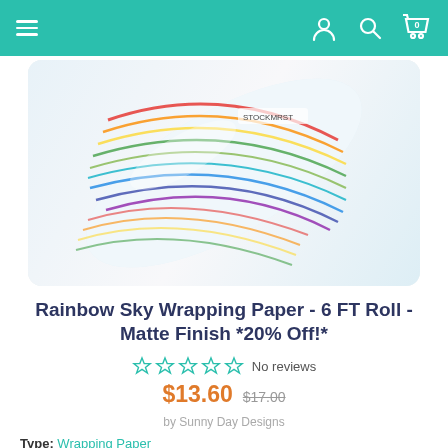Navigation bar with hamburger menu, user icon, search icon, and cart (0)
[Figure (photo): A rolled tube of Rainbow Sky Wrapping Paper with colorful rainbow swirl pattern on white background, photographed at an angle on a white surface.]
Rainbow Sky Wrapping Paper - 6 FT Roll - Matte Finish *20% Off!*
No reviews (0 stars)
$13.60  $17.00
by Sunny Day Designs
Type: Wrapping Paper